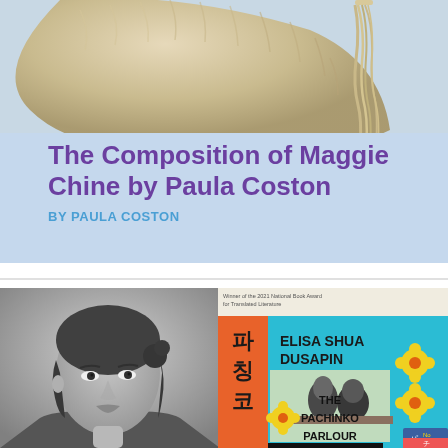[Figure (photo): Top portion of a cream/beige fuzzy object (possibly a hat or animal) against a light blue-gray background]
The Composition of Maggie Chine by Paula Coston
BY PAULA COSTON
[Figure (photo): Black and white portrait photo of a young woman on the left; book cover of 'The Pachinko Parlour' by Elisa Shua Dusapin on the right, with Korean text, cyan/turquoise background, yellow flower decorations, and an inset photo of people sitting at a parlour]
THE PACHINKO PARLOUR